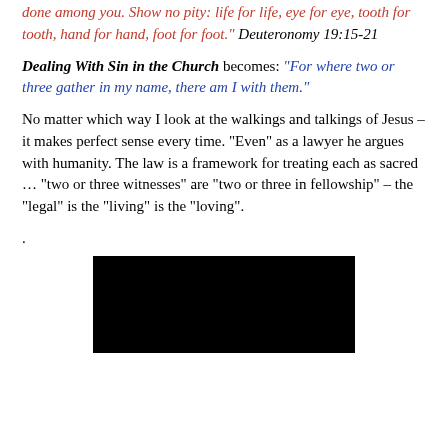done among you. Show no pity: life for life, eye for eye, tooth for tooth, hand for hand, foot for foot." Deuteronomy 19:15-21
Dealing With Sin in the Church becomes: "For where two or three gather in my name, there am I with them."
No matter which way I look at the walkings and talkings of Jesus – it makes perfect sense every time.  “Even” as a lawyer he argues with humanity.  The law is a framework for treating each as sacred … “two or three witnesses” are “two or three in fellowship” – the “legal” is the “living” is the “loving”.
.
[Figure (photo): A black rectangular image, appears to be a dark/black photo or image block.]